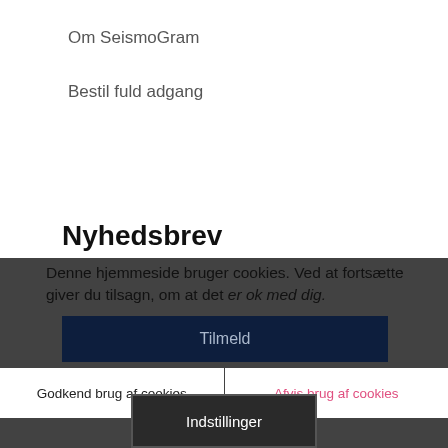Om SeismoGram
Bestil fuld adgang
Nyhedsbrev
Denne hjemmeside bruger cookies. Ved at fortsætte giver du tilsagn, om at det er ok med dig.
Tilmeld
Godkend brug af cookies
Afvis brug af cookies
Indstillinger